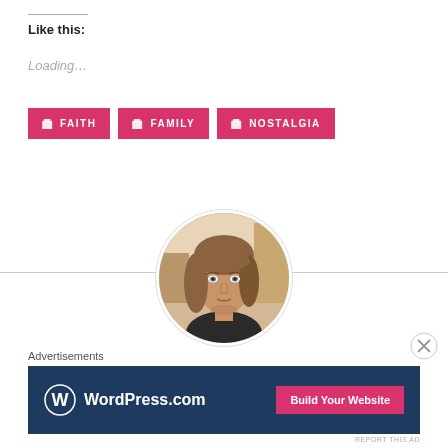Like this:
Loading…
FAITH  FAMILY  NOSTALGIA
[Figure (photo): Circular avatar photo of a woman with straight brown hair, looking at the camera, indoor background]
Advertisements
[Figure (screenshot): WordPress.com advertisement banner with dark navy background, WordPress logo on the left, and a pink 'Build Your Website' button on the right]